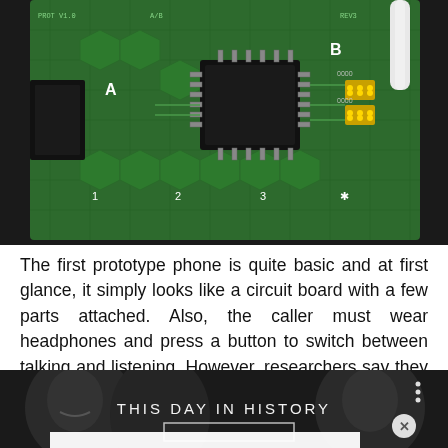[Figure (photo): Close-up photo of a green circuit board prototype phone with labeled points A, B, numbered pads 1, 2, 3, a microchip in the center, yellow LEDs, and a white cable attached at top right]
The first prototype phone is quite basic and at first glance, it simply looks like a circuit board with a few parts attached. Also, the caller must wear headphones and press a button to switch between talking and listening. However, researchers say they are planning to develop further prototypes, featuring a low-power screen for texting and even a basic camera.
[Figure (screenshot): Dark monochrome video thumbnail showing faces in the background with white text reading 'THIS DAY IN HISTORY', a three-dot menu icon at top right, an X close button, and a white rectangular overlay at the bottom]